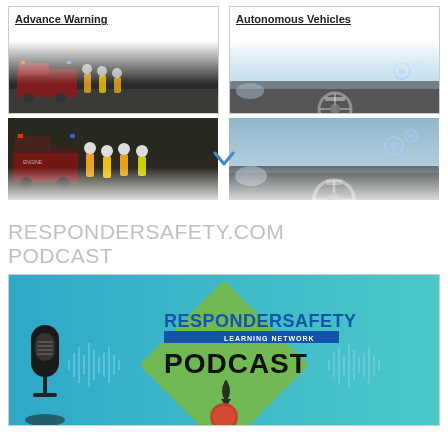Advance Warning
[Figure (photo): Firefighters and emergency responders at night scene with fire truck, faded/ghosted image at bottom of card]
Autonomous Vehicles
[Figure (photo): Car interior dashboard and steering wheel with HUD overlay, road visible through windshield]
[Figure (photo): Emergency responders at roadside scene at night — cropped thumbnail]
[Figure (photo): Car interior/dashboard autonomous vehicle view — cropped thumbnail]
RESPONDERSAFETY.COM PODCAST
[Figure (illustration): RespondeSafety Learning Network PODCAST banner with microphone, diamond road sign shape, waveform graphics, upward arrow, blue and green color scheme]